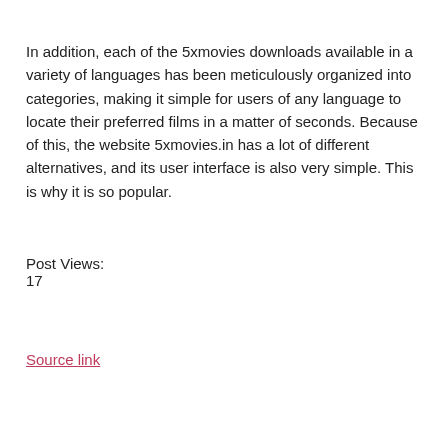In addition, each of the 5xmovies downloads available in a variety of languages has been meticulously organized into categories, making it simple for users of any language to locate their preferred films in a matter of seconds. Because of this, the website 5xmovies.in has a lot of different alternatives, and its user interface is also very simple. This is why it is so popular.
Post Views:
17
Source link